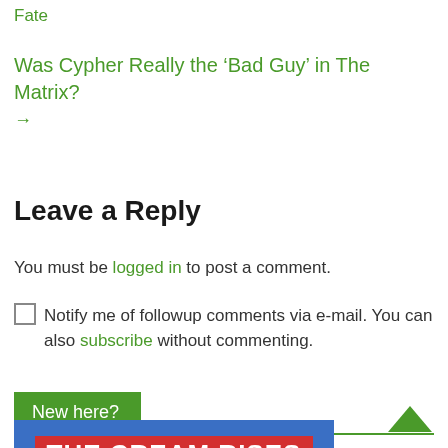Fate
Was Cypher Really the ‘Bad Guy’ in The Matrix? →
Leave a Reply
You must be logged in to post a comment.
Notify me of followup comments via e-mail. You can also subscribe without commenting.
New here?
[Figure (photo): Bottom banner image showing 'THE CREAM RISES' text in red/white on blue background with partial character illustration]